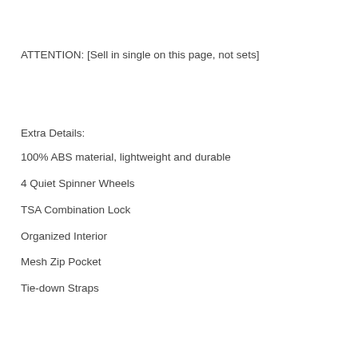ATTENTION: [Sell in single on this page, not sets]
Extra Details:
100% ABS material, lightweight and durable
4 Quiet Spinner Wheels
TSA Combination Lock
Organized Interior
Mesh Zip Pocket
Tie-down Straps